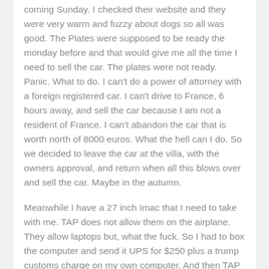coming Sunday. I checked their website and they were very warm and fuzzy about dogs so all was good. The Plates were supposed to be ready the monday before and that would give me all the time I need to sell the car. The plates were not ready. Panic. What to do. I can't do a power of attorney with a foreign registered car. I can't drive to France, 6 hours away, and sell the car because I am not a resident of France. I can't abandon the car that is worth north of 8000 euros. What the hell can I do. So we decided to leave the car at the villa, with the owners approval, and return when all this blows over and sell the car. Maybe in the autumn.
Meanwhile I have a 27 inch Imac that I need to take with me. TAP does not allow them on the airplane. They allow laptops but, what the fuck. So I had to box the computer and send it UPS for $250 plus a trump customs charge on my own computer. And then TAP rejects Ringo. Why? because the Support dog laws are American and the first leg of the trip was from